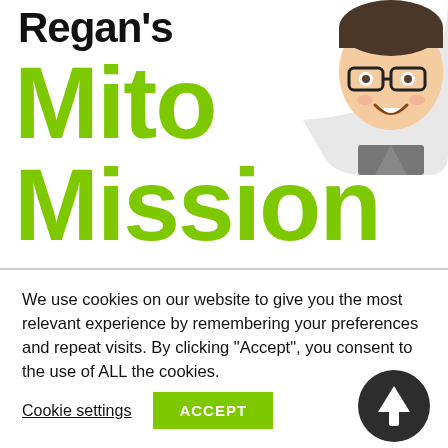Regan's Mito Mission
[Figure (photo): Smiling child with glasses in a circular speech-bubble cutout in the top-right corner]
We use cookies on our website to give you the most relevant experience by remembering your preferences and repeat visits. By clicking “Accept”, you consent to the use of ALL the cookies.
Cookie settings   ACCEPT